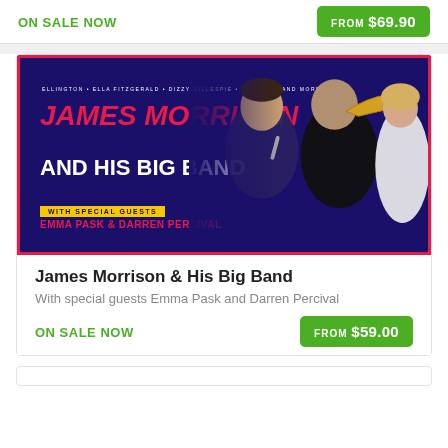ON SALE NOW
FROM $69.90
[Figure (photo): Promotional poster for James Morrison & His Big Band with special guests Emma Pask and Darren Percival. Dark navy background with red border, red italic title 'JAMES MORRISON', white bold text 'AND HIS BIG BAND', yellow bar with 'WITH SPECIAL GUESTS', red text 'EMMA PASK & DARREN PERCIVAL'. Photos of performers on right side.]
James Morrison & His Big Band
With special guests Emma Pask and Darren Percival
ON SALE NOW
FROM $59.00